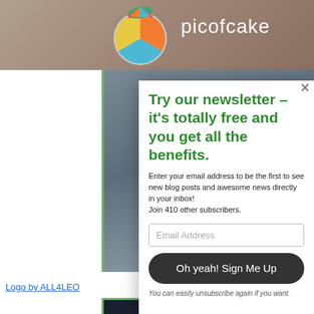[Figure (screenshot): picofcake website header with colorful pie-chart logo and brand name on brownish gradient background]
[Figure (photo): Grey-blue gradient square image on left column of website]
Logo by ALL4LEO
[Figure (screenshot): Dark background image with green/teal bird illustration]
Try our newsletter – it's totally free and you get all the benefits.
Enter your email address to be the first to see new blog posts and awesome news directly in your inbox!
Join 410 other subscribers.
Email Address
Oh yeah! Sign Me Up
You can easily unsubscribe again if you want.